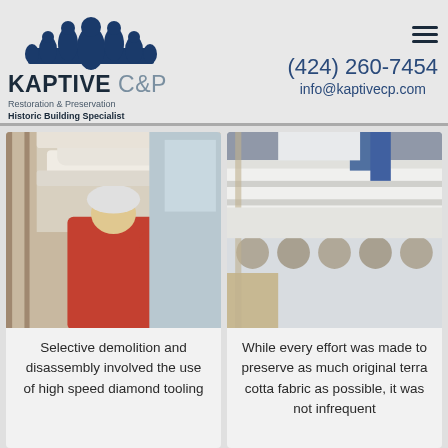[Figure (logo): Kaptive C&P logo with blue arch/dome graphic above company name]
KAPTIVE C&P
Restoration & Preservation
Historic Building Specialist
(424) 260-7454
info@kaptivecp.com
[Figure (photo): Worker in red shirt and hard hat working on ornate plaster or stucco cornice on scaffolding]
[Figure (photo): Close-up of restored terra cotta architectural cornice with decorative round elements on building exterior]
Selective demolition and disassembly involved the use of high speed diamond tooling
While every effort was made to preserve as much original terra cotta fabric as possible, it was not infrequent